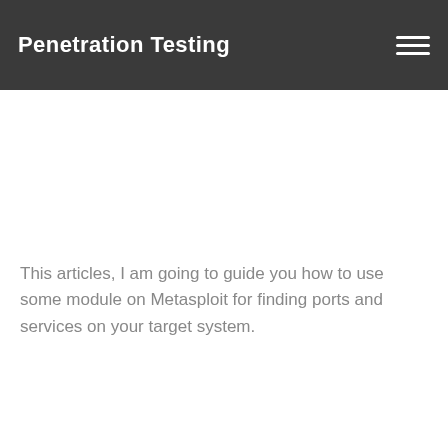Penetration Testing
This articles, I am going to guide you how to use some module on Metasploit for finding ports and services on your target system.